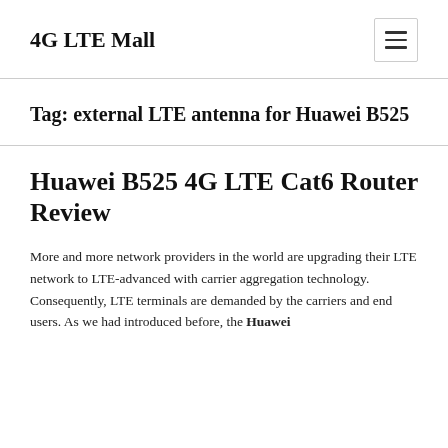4G LTE Mall
Tag: external LTE antenna for Huawei B525
Huawei B525 4G LTE Cat6 Router Review
More and more network providers in the world are upgrading their LTE network to LTE-advanced with carrier aggregation technology. Consequently, LTE terminals are demanded by the carriers and end users. As we had introduced before, the Huawei